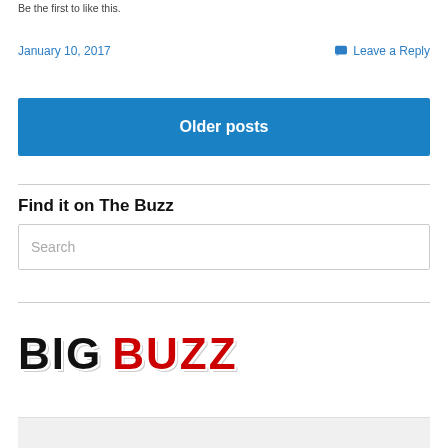Be the first to like this.
January 10, 2017
Leave a Reply
Older posts
Find it on The Buzz
Search
[Figure (logo): BIG BUZZ logo with BIG in black bold text and BUZZ in red bold text]